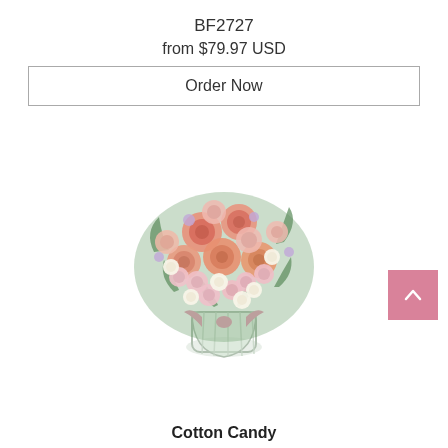BF2727
from $79.97 USD
Order Now
[Figure (photo): A floral bouquet arrangement with pink roses, pink carnations, white button mums, and greenery in a glass vase with a pink bow ribbon. The arrangement is round and lush.]
Cotton Candy